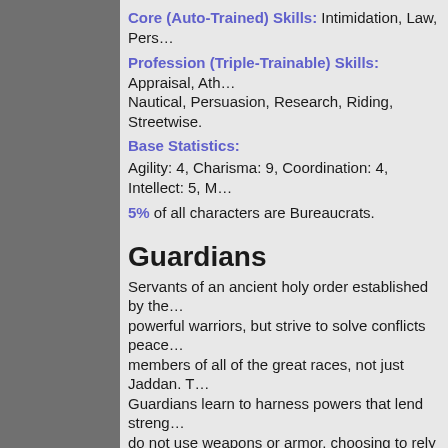Core (Auto-Trained) Skills: Intimidation, Law, Pers…
Profession (Triple-Trainable) Skills: Appraisal, Ath… Nautical, Persuasion, Research, Riding, Streetwise.
Base Statistics:
Agility: 4, Charisma: 9, Coordination: 4, Intellect: 5, M…
5% of all characters are Bureaucrats.
Guardians
Servants of an ancient holy order established by the… powerful warriors, but strive to solve conflicts peace… members of all of the great races, not just Jaddan. T… Guardians learn to harness powers that lend streng… do not use weapons or armor, choosing to rely on th…
Bonuses: Increased speed in combat; Increased re…
Core (Auto-Trained) Skills: Acrobatics, Evasion, In…
Profession (Triple-Trainable) Skills: Acrobatics, A… Persuasion, Parry, Research, Spell Research, Steal…
Base Statistics:
Agility: 6, Charisma: 6, Coordination: 6, Intellect: 3, M…
6% of all characters are Guardians.